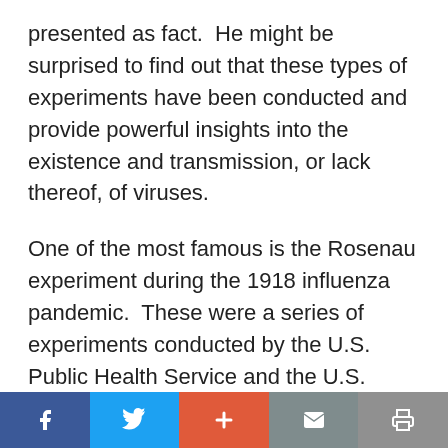presented as fact.  He might be surprised to find out that these types of experiments have been conducted and provide powerful insights into the existence and transmission, or lack thereof, of viruses.
One of the most famous is the Rosenau experiment during the 1918 influenza pandemic.  These were a series of experiments conducted by the U.S. Public Health Service and the U.S. Navy under the direction of Milton Rosenau in 1919.  They selected 100 volunteers that had no prior history of influenza and inoculated them with
Social share bar: Facebook, Twitter, Plus, Mail, Print